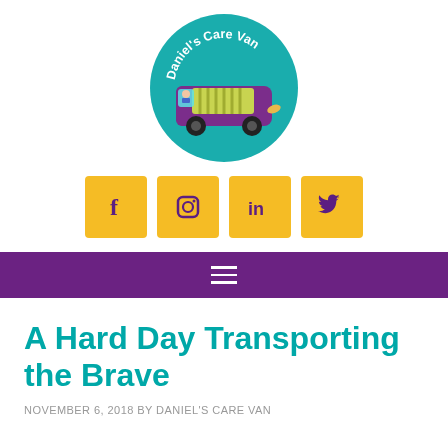[Figure (logo): Daniel's Care Van circular logo with a purple van illustration on a teal background, with the text 'Daniel's Care Van' arched at the top in white]
[Figure (infographic): Four yellow square social media icon buttons: Facebook (f), Instagram (camera), LinkedIn (in), Twitter (bird)]
≡
A Hard Day Transporting the Brave
NOVEMBER 6, 2018 BY DANIEL'S CARE VAN